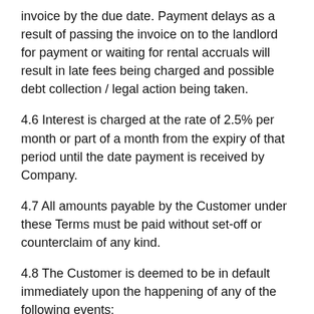invoice by the due date. Payment delays as a result of passing the invoice on to the landlord for payment or waiting for rental accruals will result in late fees being charged and possible debt collection / legal action being taken.
4.6 Interest is charged at the rate of 2.5% per month or part of a month from the expiry of that period until the date payment is received by Company.
4.7 All amounts payable by the Customer under these Terms must be paid without set-off or counterclaim of any kind.
4.8 The Customer is deemed to be in default immediately upon the happening of any of the following events:
4.8.1 if any payment to Company is not made promptly before the due date for payment.
4.8.2 if the Customer ceases to carry on business or stops or suspends payment or states its intention of